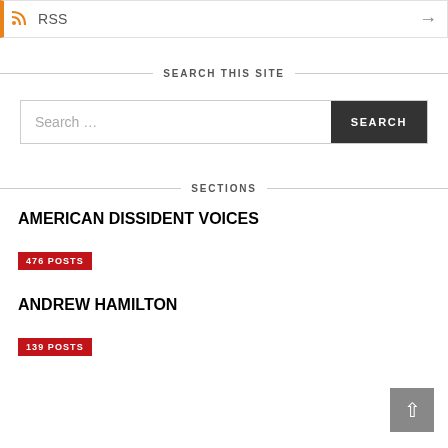RSS →
SEARCH THIS SITE
Search … SEARCH
SECTIONS
AMERICAN DISSIDENT VOICES
476 POSTS
ANDREW HAMILTON
139 POSTS